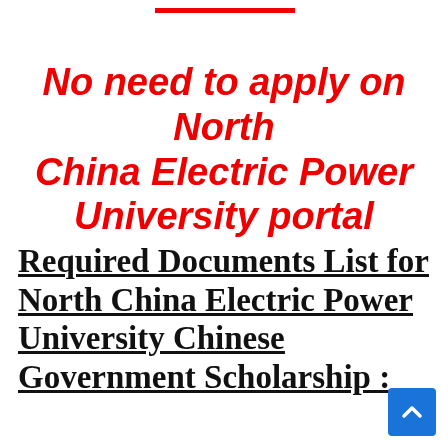No need to apply on North China Electric Power University portal
Required Documents List for North China Electric Power University Chinese Government Scholarship :